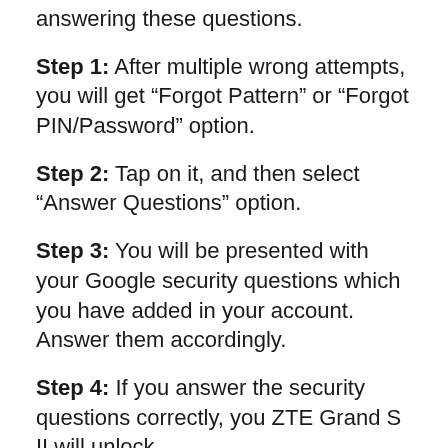answering these questions.
Step 1: After multiple wrong attempts, you will get “Forgot Pattern” or “Forgot PIN/Password” option.
Step 2: Tap on it, and then select “Answer Questions” option.
Step 3: You will be presented with your Google security questions which you have added in your account. Answer them accordingly.
Step 4: If you answer the security questions correctly, you ZTE Grand S II will unlock.